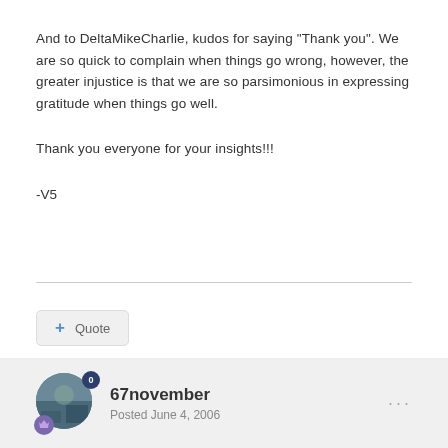And to DeltaMikeCharlie, kudos for saying "Thank you". We are so quick to complain when things go wrong, however, the greater injustice is that we are so parsimonious in expressing gratitude when things go well.
Thank you everyone for your insights!!!
-V5
Quote
67november
Posted June 4, 2006